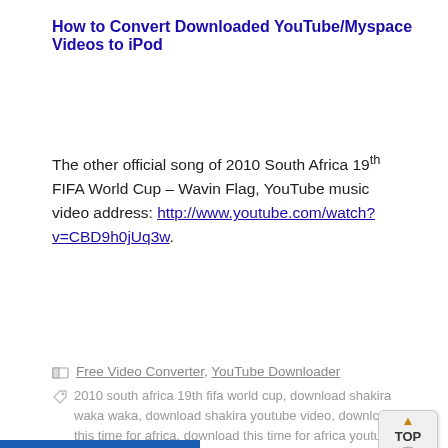How to Convert Downloaded YouTube/Myspace Videos to iPod
The other official song of 2010 South Africa 19th FIFA World Cup – Wavin Flag, YouTube music video address: http://www.youtube.com/watch?v=CBD9h0jUq3w.
Free Video Converter, YouTube Downloader
2010 south africa 19th fifa world cup, download shakira waka waka, download shakira youtube video, download this time for africa, download this time for africa youtube video, download video, Download YouTube, Download YouTube Video, fifa, fifa songs, fifa world cup, shakira youtube video, shakira youtube video download, this time for africa, this time for africa youtube video, wavin flag, world cup, youtube downloader